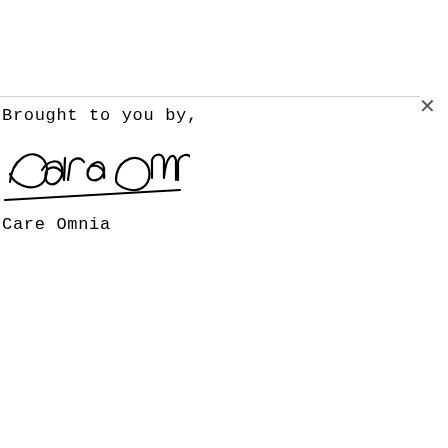Brought to you by,
[Figure (illustration): Handwritten cursive signature reading 'Care Omnia']
Care Omnia